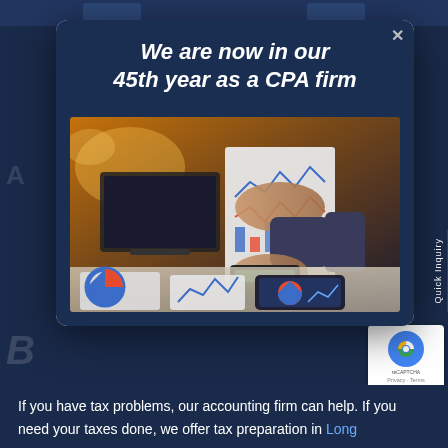[Figure (screenshot): Modal popup over a dark navy CPA firm website. The modal has a dark blue header with white bold italic text 'We are now in our 45th year as a CPA firm', followed by a photo of a person at a desk reviewing financial charts with a laptop and calculator visible. Behind the modal is a dark navy background with faint large white text fragments of the firm name and bottom body text about tax services.]
We are now in our 45th year as a CPA firm
If you have tax problems, our accounting firm can help. If you need your taxes done, we offer tax preparation in Long